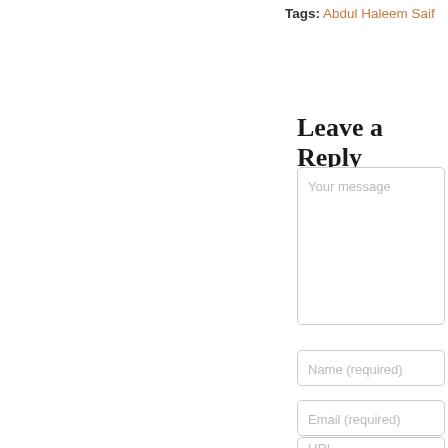Tags: Abdul Haleem Saif
Leave a Reply
Your message
Name (required)
Email (required)
URL